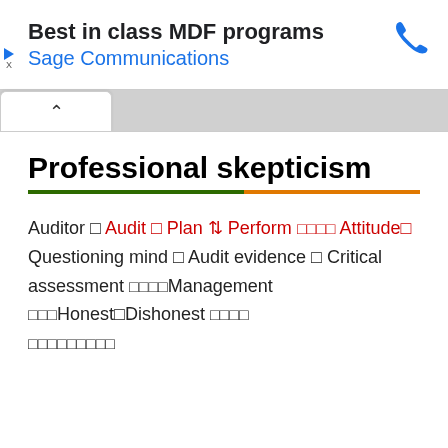[Figure (other): Advertisement banner: 'Best in class MDF programs' with 'Sage Communications' in blue, and a blue phone icon on the right. Small play/arrow icon and X on left edge.]
Professional skepticism
Auditor → Audit → Plan ↔ Perform □□□□ Attitude□ Questioning mind □ Audit evidence □ Critical assessment □□□□Management □□□Honest□Dishonest □□□□ □□□□□□□□□